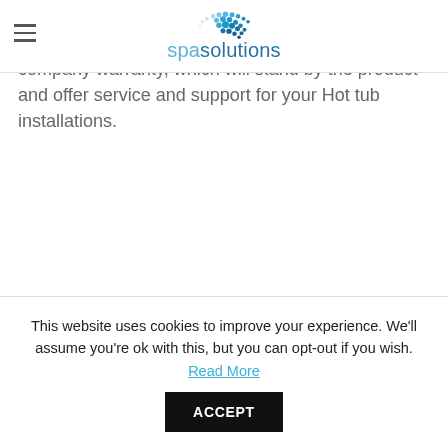spasolutions
A Hot tub warranty is essential for a carefree installation for your holiday park, you will get a company warranty, which will stand by the product and offer service and support for your Hot tub installations.
This website uses cookies to improve your experience. We'll assume you're ok with this, but you can opt-out if you wish. Read More ACCEPT